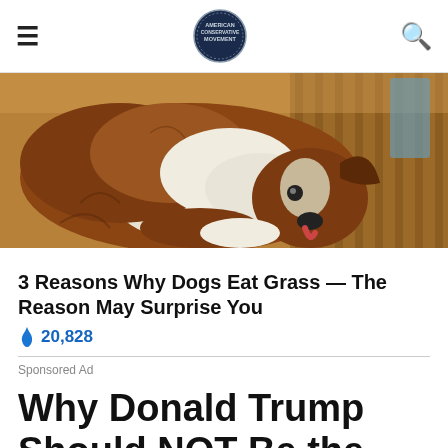≡ [AMERICAN CONSERVATIVE MOVEMENT logo] 🔍
[Figure (photo): A brown and white Australian Shepherd dog lying on a wooden surface, licking its paw]
3 Reasons Why Dogs Eat Grass — The Reason May Surprise You
🔥 20,828
Sponsored Ad
Why Donald Trump Should NOT Be the Republican